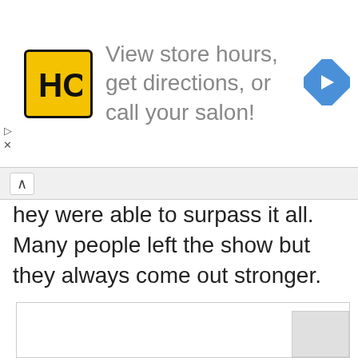[Figure (logo): HC salon logo — yellow square with black HC lettering and black border, alongside text 'View store hours, get directions, or call your salon!' and a blue diamond navigation arrow icon]
hey were able to surpass it all. Many people left the show but they always come out stronger.
[Figure (other): Empty white content box with light gray border]